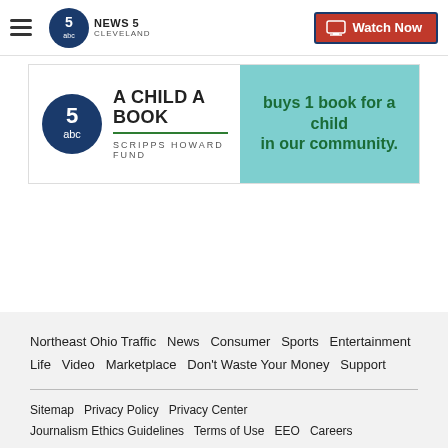News 5 Cleveland | Watch Now
[Figure (illustration): News 5 Cleveland / Scripps Howard Fund 'A Child A Book' banner ad with logo on left and teal panel on right reading 'buys 1 book for a child in our community.']
Northeast Ohio Traffic  News  Consumer  Sports  Entertainment  Life  Video  Marketplace  Don't Waste Your Money  Support  Sitemap  Privacy Policy  Privacy Center  Journalism Ethics Guidelines  Terms of Use  EEO  Careers